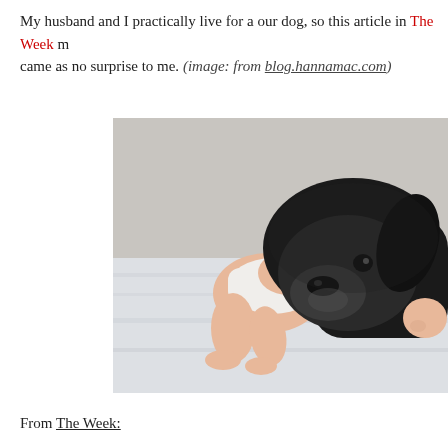My husband and I practically live for a our dog, so this article in The Week must have came as no surprise to me. (image: from blog.hannamac.com)
[Figure (photo): A sleeping baby in a white diaper lying on white bedding, with a large black Labrador dog resting its head on the baby's back. The image is soft and light-toned.]
From The Week: